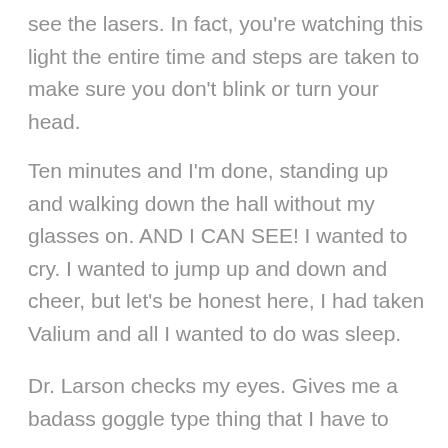see the lasers. In fact, you're watching this light the entire time and steps are taken to make sure you don't blink or turn your head.
Ten minutes and I'm done, standing up and walking down the hall without my glasses on. AND I CAN SEE! I wanted to cry. I wanted to jump up and down and cheer, but let's be honest here, I had taken Valium and all I wanted to do was sleep.
Dr. Larson checks my eyes. Gives me a badass goggle type thing that I have to